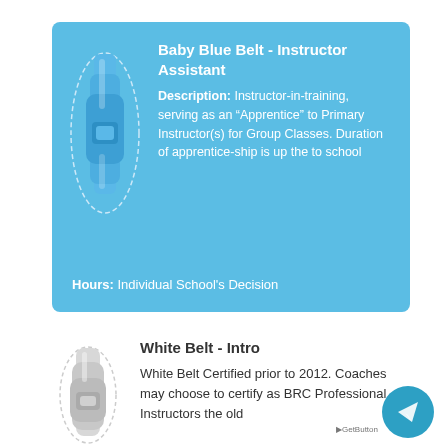[Figure (illustration): Blue belt/rope coiled, shown on blue background card]
Baby Blue Belt - Instructor Assistant
Description: Instructor-in-training, serving as an “Apprentice” to Primary Instructor(s) for Group Classes. Duration of apprentice-ship is up the to school
Hours: Individual School's Decision
[Figure (illustration): White/grey belt coiled at bottom of page]
White Belt - Intro
White Belt Certified prior to 2012. Coaches may choose to certify as BRC Professional Instructors the old